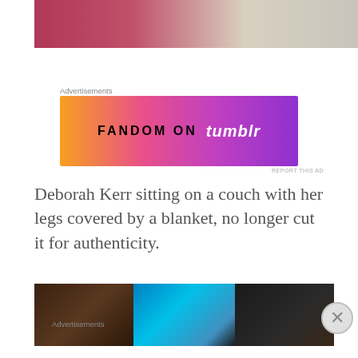[Figure (photo): Person sitting on a couch with a red/pink blanket covering their legs, floral patterned cushions visible]
Advertisements
[Figure (illustration): Fandom on Tumblr advertisement banner with orange to purple gradient background and decorative icons]
REPORT THIS AD
Deborah Kerr sitting on a couch with her legs covered by a blanket, no longer cut it for authenticity.
[Figure (photo): Dark corridor or hallway scene with blue/cyan lighting in the center panel]
[Figure (other): Close X/dismiss button (circle with X)]
Advertisements